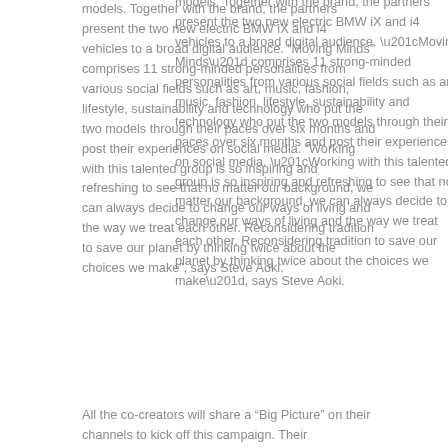models. Together with the brand, the partners present the two new electric BMW iX and i4 vehicles to a broad digital audience. “Moving Minds” comprises 11 strong-minded personalities from various social fields such as art, music, fashion, lifestyle, sustainability and technology who put the two models through their paces over six months and post their experiences on social media. “Working with this talented group is so inspiring and refreshing to see that no matter our background, we can always decide to change our ways of living and the way we treat each other. Reconsidering tradition to save our planet by thinking twice about the choices we make”, says Steve Aoki.
All the co-creators will share a “Big Picture” on their channels to kick off this campaign. Their